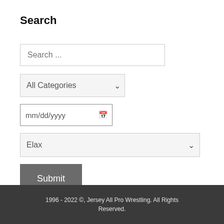Search
Search ...
All Categories
mm/dd/yyyy
Elax
Submit
1996 - 2022 ©, Jersey All Pro Wrestling. All Rights Reserved.